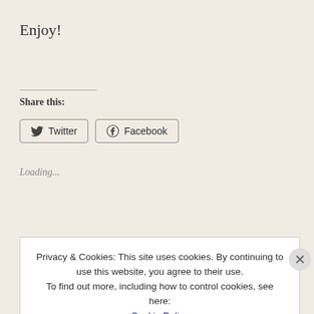Enjoy!
Share this:
[Figure (screenshot): Twitter and Facebook share buttons]
Loading...
Related
Privacy & Cookies: This site uses cookies. By continuing to use this website, you agree to their use. To find out more, including how to control cookies, see here: Cookie Policy
Close and accept